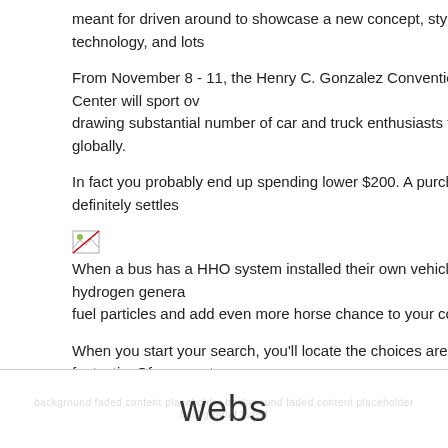meant for driven around to showcase a new concept, style, technology, and lots
From November 8 - 11, the Henry C. Gonzalez Convention Center will sport over drawing substantial number of car and truck enthusiasts from globally.
In fact you probably end up spending lower $200. A purchase definitely settles
[Figure (photo): Broken image placeholder icon]
When a bus has a HHO system installed their own vehicle the hydrogen generator fuel particles and add even more horse chance to your core.
When you start your search, you'll locate the choices are fantastic. Of course, you've a lot to choose from if should a thorough search. Carried out right in order certainly not an indisputable conclusion. But, this is a great place to begin and
With a kerb weight of 1,085 kilograms (2,392 lb), the E-Up is able to complete the seconds; and should reach a top speed of 135 kilometres per hour (83.9 mph). particular.47 metres (4 ft 10 in) high, and contains a wheelbase of 2.19 metres
webs